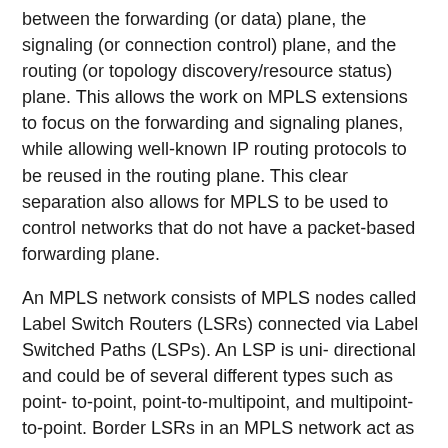between the forwarding (or data) plane, the signaling (or connection control) plane, and the routing (or topology discovery/resource status) plane. This allows the work on MPLS extensions to focus on the forwarding and signaling planes, while allowing well-known IP routing protocols to be reused in the routing plane. This clear separation also allows for MPLS to be used to control networks that do not have a packet-based forwarding plane.
An MPLS network consists of MPLS nodes called Label Switch Routers (LSRs) connected via Label Switched Paths (LSPs). An LSP is uni- directional and could be of several different types such as point- to-point, point-to-multipoint, and multipoint-to-point. Border LSRs in an MPLS network act as either ingress or egress LSRs, depending on the direction of the traffic being forwarded.
Each LSP is associated with a Forwarding Equivalence Class (FEC), which may be thought of as a set of packets that receive identical forwarding treatment at an LSR. The simplest example of an FEC might be the set of destination